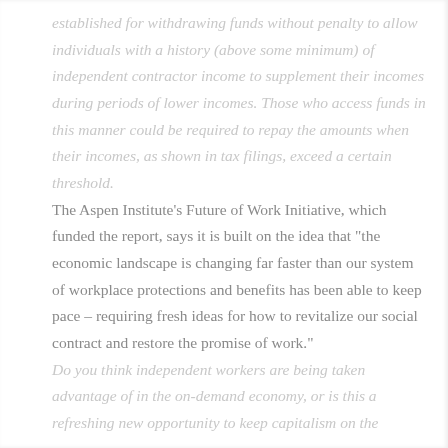established for withdrawing funds without penalty to allow individuals with a history (above some minimum) of independent contractor income to supplement their incomes during periods of lower incomes. Those who access funds in this manner could be required to repay the amounts when their incomes, as shown in tax filings, exceed a certain threshold.
The Aspen Institute's Future of Work Initiative, which funded the report, says it is built on the idea that "the economic landscape is changing far faster than our system of workplace protections and benefits has been able to keep pace – requiring fresh ideas for how to revitalize our social contract and restore the promise of work."
Do you think independent workers are being taken advantage of in the on-demand economy, or is this a refreshing new opportunity to keep capitalism on the